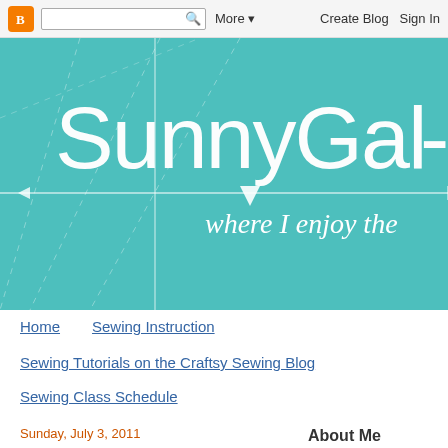Blogger navbar with icon, search box, More, Create Blog, Sign In
[Figure (screenshot): SunnyGal Studio blog banner with teal background, large white text 'SunnyGal S-', dashed sewing pattern lines, arrow pointing down, and italic subtitle 'where I enjoy the']
Home
Sewing Instruction
Sewing Tutorials on the Craftsy Sewing Blog
Sewing Class Schedule
Sunday, July 3, 2011
Patternmaking - Copying a favorite blouse - the result
About Me
[Figure (photo): Small portrait photo in sidebar under About Me]